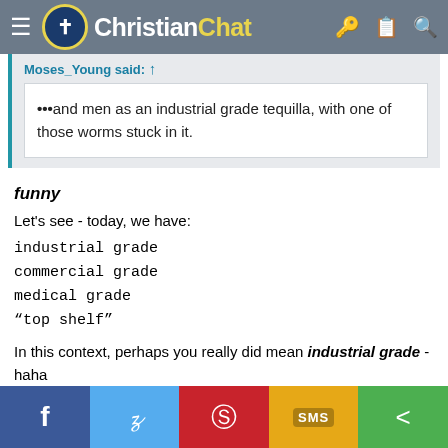Christian Chat
Moses_Young said: ↑

...and men as an industrial grade tequilla, with one of those worms stuck in it.
funny
Let's see - today, we have:
industrial grade
commercial grade
medical grade
“top shelf”
In this context, perhaps you really did mean industrial grade - haha
f  twitter  pinterest  SMS  share